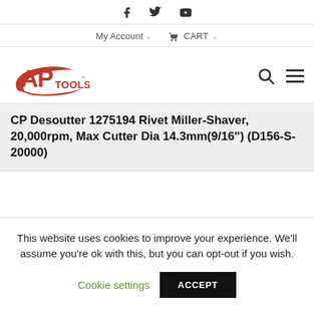Social icons: Facebook, Twitter, YouTube
My Account  CART
[Figure (logo): AP Tools logo — red stylized 'AP' letters with 'TOOLS' text and swoosh graphic]
CP Desoutter 1275194 Rivet Miller-Shaver, 20,000rpm, Max Cutter Dia 14.3mm(9/16") (D156-S-20000)
This website uses cookies to improve your experience. We'll assume you're ok with this, but you can opt-out if you wish.
Cookie settings  ACCEPT